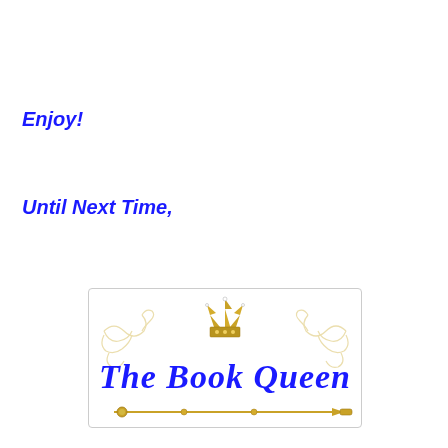Enjoy!
Until Next Time,
[Figure (logo): The Book Queen logo: decorative scrollwork with a gold crown at top center, blue cursive script reading 'The Book Queen', and a gold scepter/wand at the bottom, all within a rounded rectangle border.]